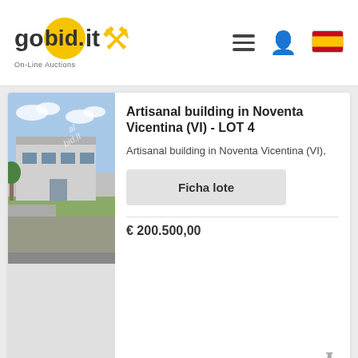gobid.it On-Line Auctions
[Figure (screenshot): Listing card showing artisanal building photo and details]
Artisanal building in Noventa Vicentina (VI) - LOT 4
Artisanal building in Noventa Vicentina (VI),
Ficha lote
€ 200.500,00